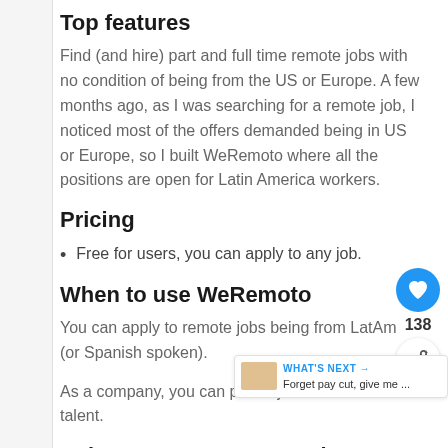Top features
Find (and hire) part and full time remote jobs with no condition of being from the US or Europe. A few months ago, as I was searching for a remote job, I noticed most of the offers demanded being in US or Europe, so I built WeRemoto where all the positions are open for Latin America workers.
Pricing
Free for users, you can apply to any job.
When to use WeRemoto
You can apply to remote jobs being from LatAm (or Spanish spoken).
As a company, you can post a job to hire LatAm talent.
Relevance to remote workers